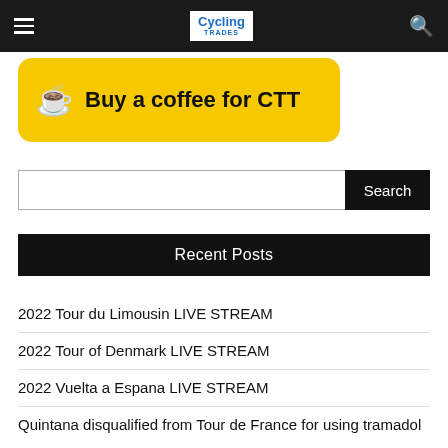Cycling Trades — navigation bar with hamburger menu, logo, and search icon
[Figure (illustration): Yellow rounded rectangle banner with coffee cup icon and text: Buy a coffee for CTT]
Search
Recent Posts
2022 Tour du Limousin LIVE STREAM
2022 Tour of Denmark LIVE STREAM
2022 Vuelta a Espana LIVE STREAM
Quintana disqualified from Tour de France for using tramadol